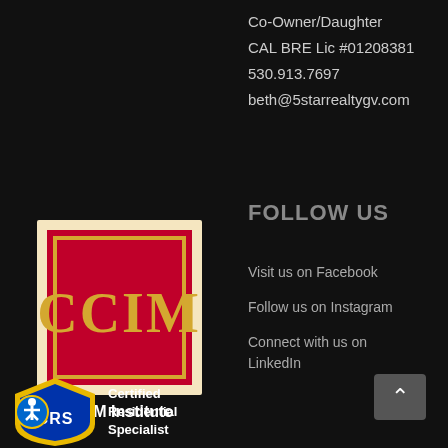Co-Owner/Daughter
CAL BRE Lic #01208381
530.913.7697
beth@5starrealtygv.com
[Figure (logo): CCIM Institute logo — crimson red square with gold border lines and large gold 'CCIM' letters, labeled 'CCIM Institute' below]
FOLLOW US
Visit us on Facebook
Follow us on Instagram
Connect with us on LinkedIn
[Figure (logo): CRS Certified Residential Specialist badge with blue/yellow shield and accessibility icon, with bold white text 'Certified Residential Specialist']